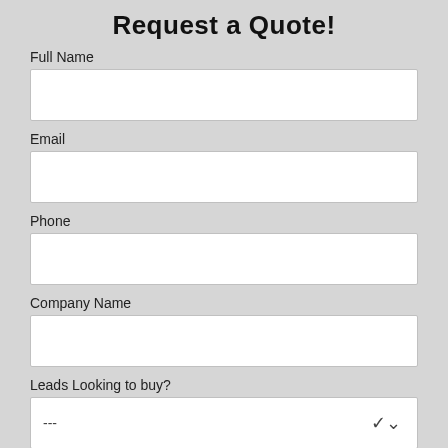Request a Quote!
Full Name
Email
Phone
Company Name
Leads Looking to buy?
---
Comment Box